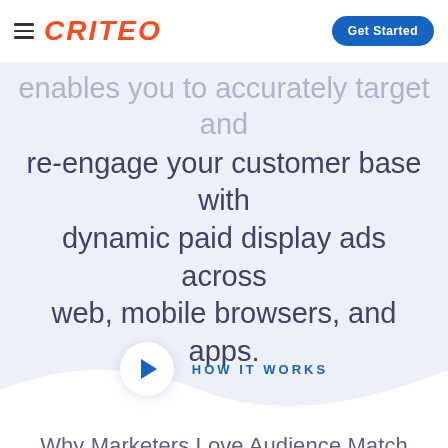CRITEO | Get Started
enables you to accurately target and re-engage your customer base with dynamic paid display ads across web, mobile browsers, and apps.
[Figure (illustration): Play button circle with blue triangle, next to HOW IT WORKS text link in blue uppercase letters]
Why Marketers Love Audience Match
What We Offer